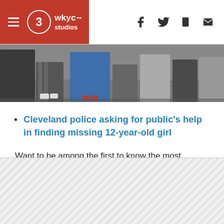WKYC Studios — hamburger menu, logo, social icons (Facebook, Twitter, mobile, email)
[Figure (photo): Crowd of people standing outdoors, lower bodies visible, various clothing colors including blue and dark outfits]
Cleveland police asking for public's help in finding missing 12-year-old girl
Want to be among the first to know the most important local and national news? Download the free WKYC app and get updates right on your phone: Android, Apple.